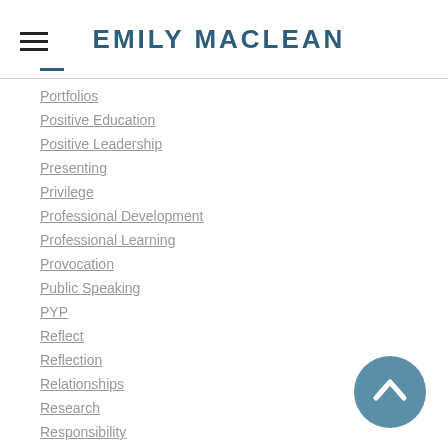EMILY MACLEAN
Portfolios
Positive Education
Positive Leadership
Presenting
Privilege
Professional Development
Professional Learning
Provocation
Public Speaking
PYP
Reflect
Reflection
Relationships
Research
Responsibility
Risktaker
SAMR
Sharing